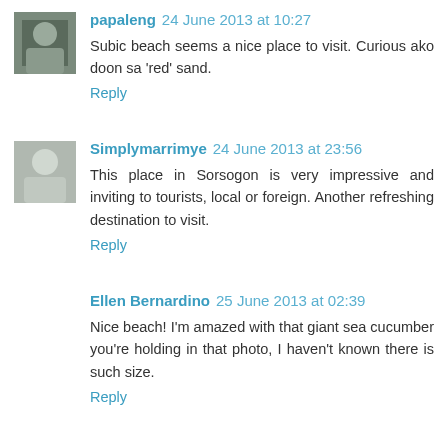papaleng 24 June 2013 at 10:27
Subic beach seems a nice place to visit. Curious ako doon sa 'red' sand.
Reply
Simplymarrimye 24 June 2013 at 23:56
This place in Sorsogon is very impressive and inviting to tourists, local or foreign. Another refreshing destination to visit.
Reply
Ellen Bernardino 25 June 2013 at 02:39
Nice beach! I'm amazed with that giant sea cucumber you're holding in that photo, I haven't known there is such size.
Reply